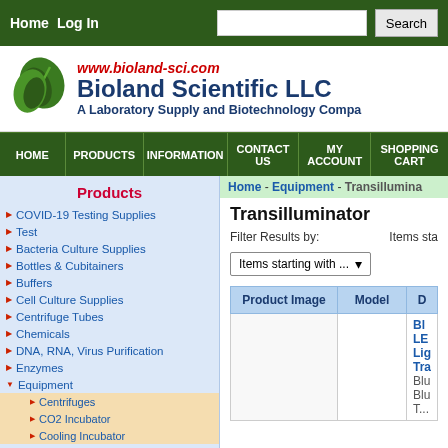Home  Log In  [Search box]  Search
[Figure (logo): Bioland Scientific LLC logo with green leaf icon]
Bioland Scientific LLC
www.bioland-sci.com
A Laboratory Supply and Biotechnology Company
HOME  PRODUCTS  INFORMATION  CONTACT US  MY ACCOUNT  SHOPPING CART
Products
COVID-19 Testing Supplies
Test
Bacteria Culture Supplies
Bottles & Cubitainers
Buffers
Cell Culture Supplies
Centrifuge Tubes
Chemicals
DNA, RNA, Virus Purification
Enzymes
Equipment
Centrifuges
CO2 Incubator
Cooling Incubator
Home - Equipment - Transilluminator
Transilluminator
Filter Results by:   Items starting with ...
| Product Image | Model | D... |
| --- | --- | --- |
|  |  | BL LED Li... Tra...
Blu Blu T... |